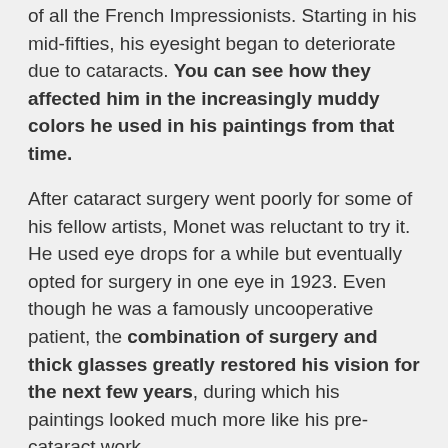of all the French Impressionists. Starting in his mid-fifties, his eyesight began to deteriorate due to cataracts. You can see how they affected him in the increasingly muddy colors he used in his paintings from that time.
After cataract surgery went poorly for some of his fellow artists, Monet was reluctant to try it. He used eye drops for a while but eventually opted for surgery in one eye in 1923. Even though he was a famously uncooperative patient, the combination of surgery and thick glasses greatly restored his vision for the next few years, during which his paintings looked much more like his pre-cataract work.
Modern Cataract Surgery
If Monet was dealing with his cataracts today, he wouldn't hesitate to get cataract surgery, which has a success rate of around 98-99%. The advancements we've made with silicone and plastics mean that there's no need for bulky glasses. We can simply replace the